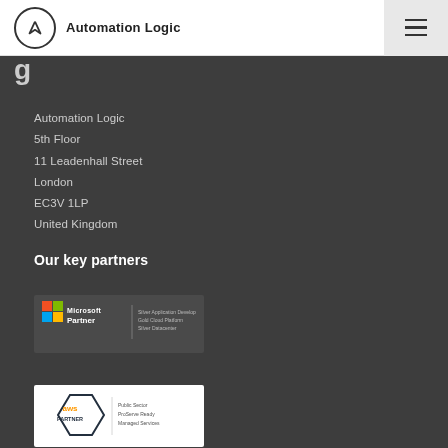Automation Logic
g
Automation Logic
5th Floor
11 Leadenhall Street
London
EC3V 1LP
United Kingdom
Our key partners
[Figure (logo): Microsoft Partner logo with Gold Application Development, Gold Cloud Platform, Silver Datacenter badges]
[Figure (logo): AWS Partner logo with Public Sector, ProServe Ready, Managed Services text visible]